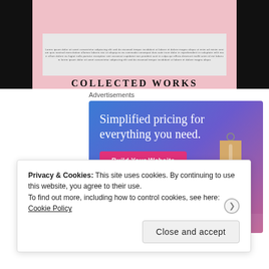[Figure (photo): Book with pink cover titled 'COLLECTED WORKS' shown against black background]
Advertisements
[Figure (other): WordPress.com advertisement with gradient blue-purple-pink background. Headline reads 'Simplified pricing for everything you need.' with a pink 'Build Your Website' button and a decorative price tag image. WordPress.com logo at bottom.]
Privacy & Cookies: This site uses cookies. By continuing to use this website, you agree to their use.
To find out more, including how to control cookies, see here: Cookie Policy
Close and accept